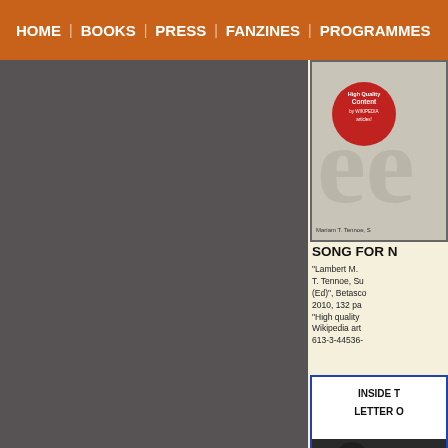HOME | BOOKS | PRESS | FANZINES | PROGRAMMES
[Figure (photo): Book cover with red badge saying High Quality Content by Wikipedia articles, author Mariam T. Tennoe]
SONG FOR N
"Lambert M. T. Tennoe, Su (Ed)", Betasco, 2010, 132 pa "High quality Wikipedia art 613-3-44536-
[Figure (photo): Second book cover with blue border, text INSIDE T LETTER O and dark photograph below]